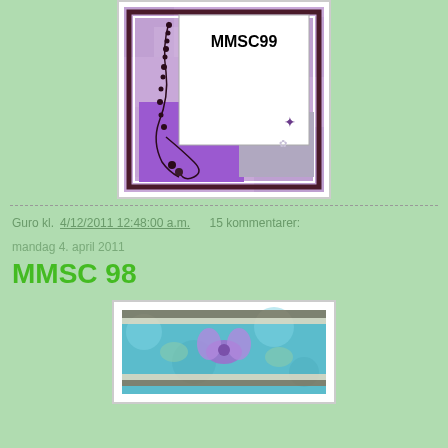[Figure (illustration): Decorative card illustration with purple and lavender background, dark border, white card area with 'MMSC99' text, and curling bead/vine decorative element]
Guro kl. 4/12/2011 12:48:00 a.m.    15 kommentarer:
mandag 4. april 2011
MMSC 98
[Figure (photo): Partial photo of a handmade card with teal/turquoise floral background and a purple butterfly or flower embellishment]